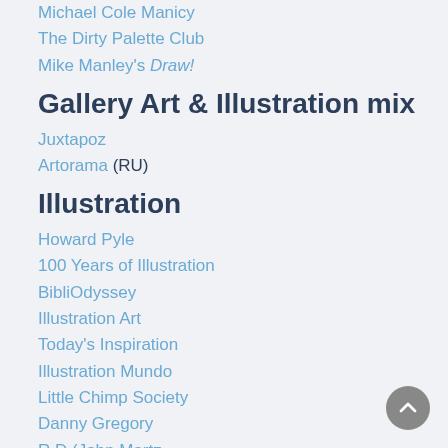Michael Cole Manicy
The Dirty Palette Club
Mike Manley's Draw!
Gallery Art & Illustration mix
Juxtapoz
Artorama (RU)
Illustration
Howard Pyle
100 Years of Illustration
BibliOdyssey
Illustration Art
Today's Inspiration
Illustration Mundo
Little Chimp Society
Danny Gregory
R D (John Martz
Illustration Friday blog
Monster Brains
Illustrators & Illustrations (RU)